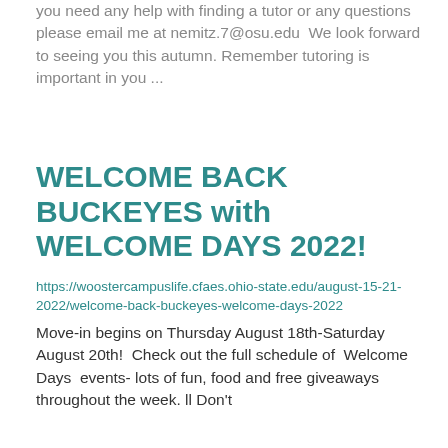you need any help with finding a tutor or any questions please email me at nemitz.7@osu.edu  We look forward to seeing you this autumn. Remember tutoring is important in you ...
WELCOME BACK BUCKEYES with WELCOME DAYS 2022!
https://woostercampuslife.cfaes.ohio-state.edu/august-15-21-2022/welcome-back-buckeyes-welcome-days-2022
Move-in begins on Thursday August 18th-Saturday August 20th!  Check out the full schedule of  Welcome Days  events- lots of fun, food and free giveaways throughout the week. ll Don't ...